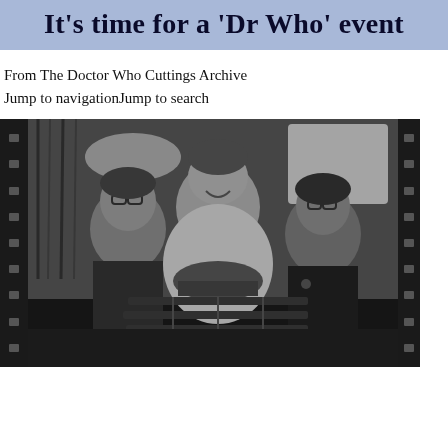It's time for a 'Dr Who' event
From The Doctor Who Cuttings Archive
Jump to navigationJump to search
[Figure (photo): Black and white photograph of three people posing together behind what appears to be a Dalek prop or similar Doctor Who set piece. The central figure is a man smiling broadly, flanked by two women, all appearing to be at a fan event or convention.]